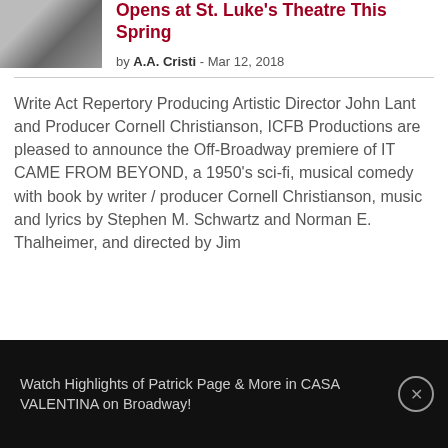[Figure (photo): Thumbnail image, partially visible, showing a dark figure or costume]
Opens at St. Luke's Theatre This Spring
by A.A. Cristi - Mar 12, 2018
Write Act Repertory Producing Artistic Director John Lant and Producer Cornell Christianson, ICFB Productions are pleased to announce the Off-Broadway premiere of IT CAME FROM BEYOND, a 1950's sci-fi, musical comedy with book by writer / producer Cornell Christianson, music and lyrics by Stephen M. Schwartz and Norman E. Thalheimer, and directed by Jim
Watch Highlights of Patrick Page & More in CASA VALENTINA on Broadway!